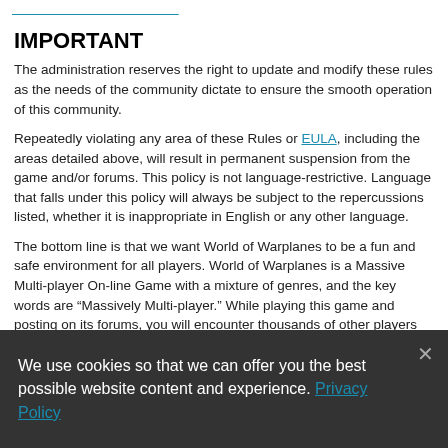[link bar at top]
IMPORTANT
The administration reserves the right to update and modify these rules as the needs of the community dictate to ensure the smooth operation of this community.
Repeatedly violating any area of these Rules or EULA, including the areas detailed above, will result in permanent suspension from the game and/or forums. This policy is not language-restrictive. Language that falls under this policy will always be subject to the repercussions listed, whether it is inappropriate in English or any other language.
The bottom line is that we want World of Warplanes to be a fun and safe environment for all players. World of Warplanes is a Massive Multi-player On-line Game with a mixture of genres, and the key words are “Massively Multi-player.” While playing this game and posting on its forums, you will encounter thousands of other players who share different experiences and come from vastly different backgrounds.
While certain language and images may not be offensive to you, consider the fact that that same language and images may have a
We use cookies so that we can offer you the best possible website content and experience. Privacy Policy